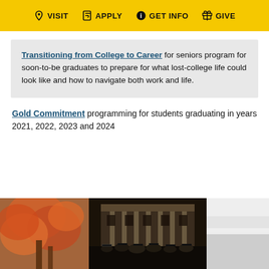VISIT  APPLY  GET INFO  GIVE
Transitioning from College to Career for seniors program for soon-to-be graduates to prepare for what lost-college life could look like and how to navigate both work and life.
Gold Commitment programming for students graduating in years 2021, 2022, 2023 and 2024
[Figure (photo): Three-panel photo strip: left panel shows autumn foliage/trees in orange-red colors, center panel shows a graduation ceremony in front of a large brick building with columns and students in caps and gowns, right panel shows a blurred/white image.]